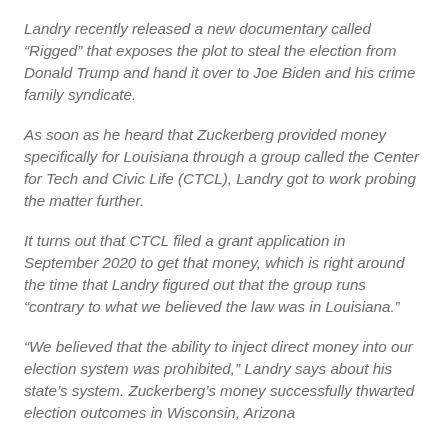Landry recently released a new documentary called “Rigged” that exposes the plot to steal the election from Donald Trump and hand it over to Joe Biden and his crime family syndicate.
As soon as he heard that Zuckerberg provided money specifically for Louisiana through a group called the Center for Tech and Civic Life (CTCL), Landry got to work probing the matter further.
It turns out that CTCL filed a grant application in September 2020 to get that money, which is right around the time that Landry figured out that the group runs “contrary to what we believed the law was in Louisiana.”
“We believed that the ability to inject direct money into our election system was prohibited,” Landry says about his state’s system. Zuckerberg’s money successfully thwarted election outcomes in Wisconsin, Arizona